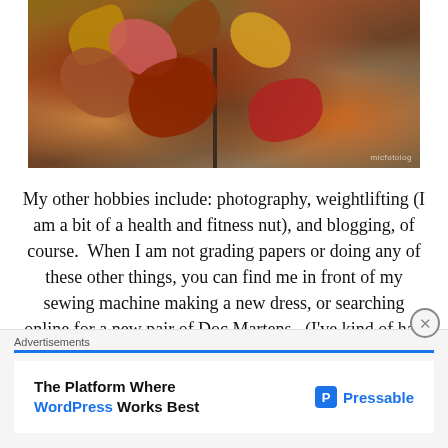[Figure (photo): Autumn leaves in orange, red, and yellow on branches with forest floor background]
My other hobbies include: photography, weightlifting (I am a bit of a health and fitness nut), and blogging, of course.  When I am not grading papers or doing any of these other things, you can find me in front of my sewing machine making a new dress, or searching online for a new pair of Doc Martens.  (I've kind of had a thing for them since my early teens, and I haven't grown out of it
Advertisements
The Platform Where WordPress Works Best